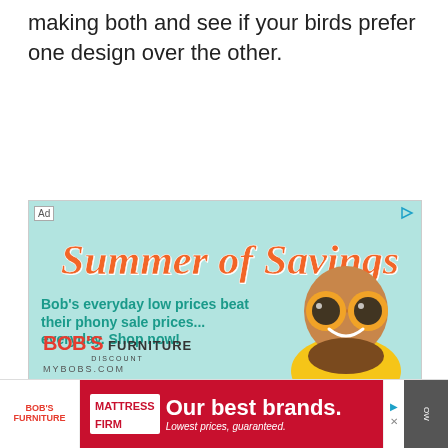making both and see if your birds prefer one design over the other.
[Figure (infographic): Advertisement for Bob's Discount Furniture - Summer of Savings. Teal/mint background with large orange cursive 'Summer of Savings' text, teal bold text reading 'Bob's everyday low prices beat their phony sale prices... everyday. Shop now!', Bob's Discount Furniture logo in red and gray, MYBOBS.COM url, and a cartoon mascot character with orange sunglasses wearing yellow shirt.]
Summer of Savings
Bob's everyday low prices beat their phony sale prices... everyday. Shop now!
[Figure (infographic): Bottom banner advertisement. Left side shows Bob's Furniture logo in red. Main section is red background with Mattress Firm logo in white and text 'Our best brands. Lowest prices, guaranteed.' Right side has navigation/close controls.]